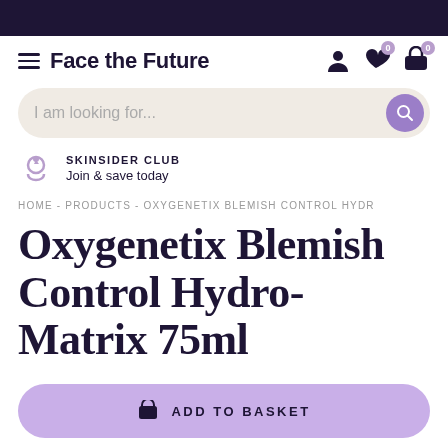Face the Future
I am looking for...
SKINSIDER CLUB
Join & save today
HOME - PRODUCTS - OXYGENETIX BLEMISH CONTROL HYDR
Oxygenetix Blemish Control Hydro-Matrix 75ml
ADD TO BASKET